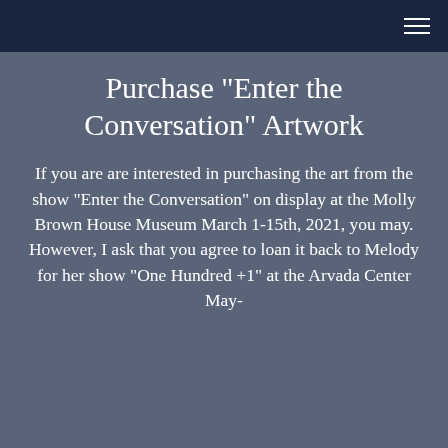Purchase "Enter the Conversation" Artwork
If you are are interested in purchasing the art from the show "Enter the Conversation" on display at the Molly Brown House Museum March 1-15th, 2021, you may. However, I ask that you agree to loan it back to Melody for her show "One Hundred +1" at the Arvada Center May-